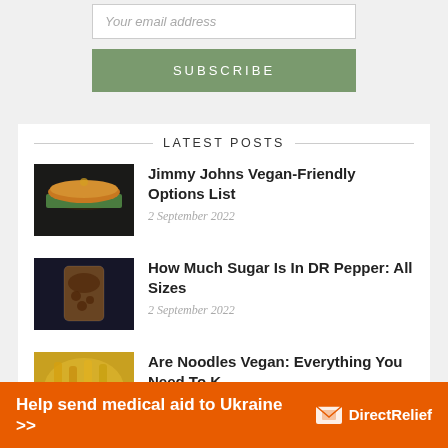Your email address
SUBSCRIBE
LATEST POSTS
Jimmy Johns Vegan-Friendly Options List
2 September 2022
How Much Sugar Is In DR Pepper: All Sizes
2 September 2022
Are Noodles Vegan: Everything You Need To Know
Help send medical aid to Ukraine >>
[Figure (logo): DirectRelief logo — white envelope/box icon and text 'DirectRelief']